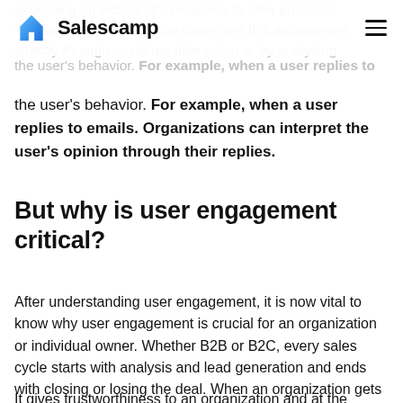Salescamp
assessing an individual's response to offer products, services or goods. We can determine this assessment directly through customer interaction or by analyzing the user's behavior. For example, when a user replies to emails. Organizations can interpret the user's opinion through their replies.
But why is user engagement critical?
After understanding user engagement, it is now vital to know why user engagement is crucial for an organization or individual owner. Whether B2B or B2C, every sales cycle starts with analysis and lead generation and ends with closing or losing the deal. When an organization gets a lead, the first thing that needs to be done is to communicate a message and start interacting with the lead.
It gives trustworthiness to an organization and at the